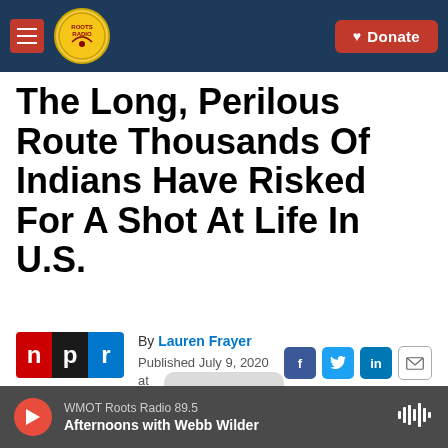Roots Radio | Donate
The Long, Perilous Route Thousands Of Indians Have Risked For A Shot At Life In U.S.
By Lauren Frayer
Published July 9, 2020 at 11:04 AM CDT
WMOT Roots Radio 89.5 — Afternoons with Webb Wilder